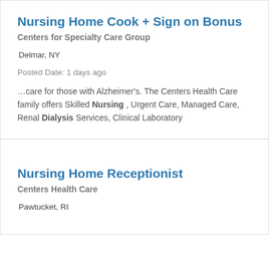Nursing Home Cook + Sign on Bonus
Centers for Specialty Care Group
Delmar, NY
Posted Date: 1 days ago
…care for those with Alzheimer's. The Centers Health Care family offers Skilled Nursing , Urgent Care, Managed Care, Renal Dialysis Services, Clinical Laboratory
Nursing Home Receptionist
Centers Health Care
Pawtucket, RI